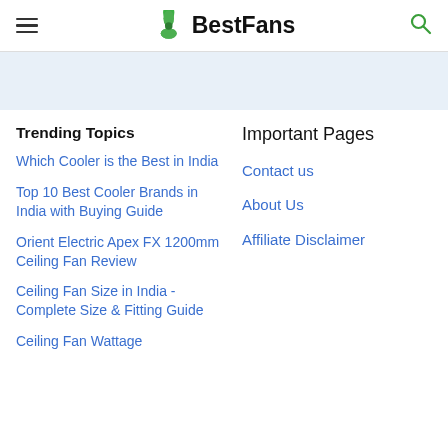BestFans
Trending Topics
Which Cooler is the Best in India
Top 10 Best Cooler Brands in India with Buying Guide
Orient Electric Apex FX 1200mm Ceiling Fan Review
Ceiling Fan Size in India -Complete Size & Fitting Guide
Ceiling Fan Wattage
Important Pages
Contact us
About Us
Affiliate Disclaimer